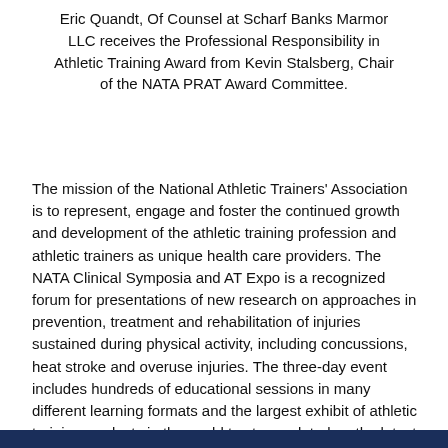Eric Quandt, Of Counsel at Scharf Banks Marmor LLC receives the Professional Responsibility in Athletic Training Award from Kevin Stalsberg, Chair of the NATA PRAT Award Committee.
The mission of the National Athletic Trainers' Association is to represent, engage and foster the continued growth and development of the athletic training profession and athletic trainers as unique health care providers. The NATA Clinical Symposia and AT Expo is a recognized forum for presentations of new research on approaches in prevention, treatment and rehabilitation of injuries sustained during physical activity, including concussions, heat stroke and overuse injuries. The three-day event includes hundreds of educational sessions in many different learning formats and the largest exhibit of athletic training products in the world to stay updated on the latest innovations in the market.  For more information about NATA, please visit https://www.nata.org/.